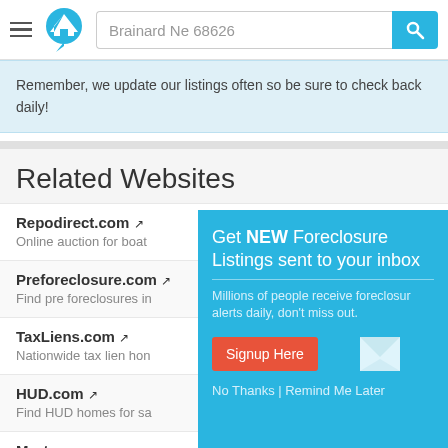Brainard Ne 68626
Remember, we update our listings often so be sure to check back daily!
Related Websites
Repodirect.com — Online auction for boat
Preforeclosure.com — Find pre foreclosures in
TaxLiens.com — Nationwide tax lien hon
HUD.com — Find HUD homes for sa
[Figure (screenshot): Popup modal with teal background: 'Get NEW Foreclosure Listings sent to your inbox'. Subtext: 'Millions of people receive foreclosure alerts daily, don't miss out.' Red 'Signup Here' button, mail icon, and 'No Thanks | Remind Me Later' links.]
Mortgage — Learn about & get approved for a Mortgage